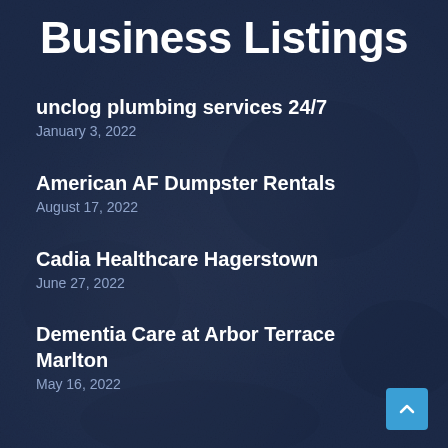Business Listings
unclog plumbing services 24/7
January 3, 2022
American AF Dumpster Rentals
August 17, 2022
Cadia Healthcare Hagerstown
June 27, 2022
Dementia Care at Arbor Terrace Marlton
May 16, 2022